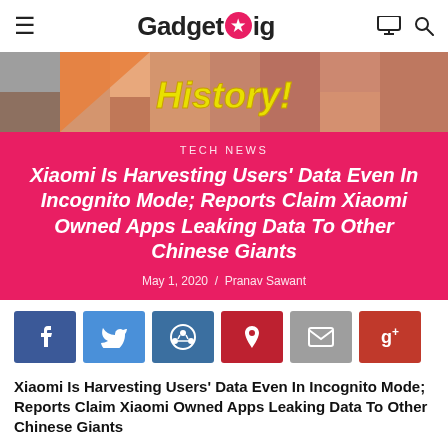GadgetGig
[Figure (photo): Pixelated/blurred hero image with 'History!' text in yellow bold font over it]
TECH NEWS
Xiaomi Is Harvesting Users' Data Even In Incognito Mode; Reports Claim Xiaomi Owned Apps Leaking Data To Other Chinese Giants
May 1, 2020 / Pranav Sawant
[Figure (infographic): Social share buttons: Facebook, Twitter, Reddit, Pinterest, Email, Google+]
Xiaomi Is Harvesting Users' Data Even In Incognito Mode; Reports Claim Xiaomi Owned Apps Leaking Data To Other Chinese Giants